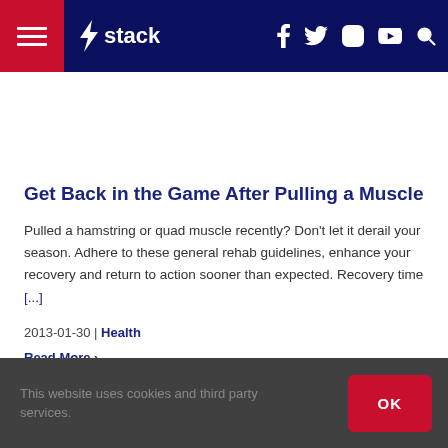stack — navigation header with menu, logo, social icons (facebook, twitter, instagram, youtube), search
Get Back in the Game After Pulling a Muscle
Pulled a hamstring or quad muscle recently? Don't let it derail your season. Adhere to these general rehab guidelines, enhance your recovery and return to action sooner than expected. Recovery time [...]
2013-01-30 | Health
Read More >
This website uses cookies and third party services. OK